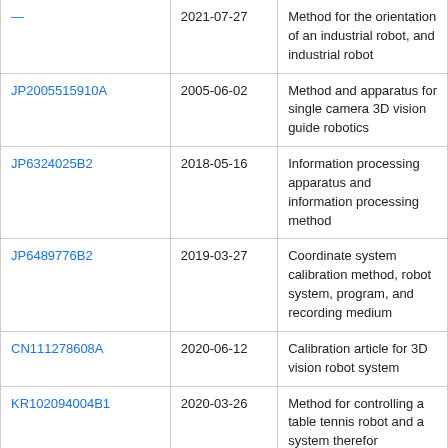| Publication | Date | Title |
| --- | --- | --- |
| [truncated] | 2021-07-27 | Method for the orientation of an industrial robot, and industrial robot |
| JP2005515910A | 2005-06-02 | Method and apparatus for single camera 3D vision guide robotics |
| JP6324025B2 | 2018-05-16 | Information processing apparatus and information processing method |
| JP6489776B2 | 2019-03-27 | Coordinate system calibration method, robot system, program, and recording medium |
| CN111278608A | 2020-06-12 | Calibration article for 3D vision robot system |
| KR102094004B1 | 2020-03-26 | Method for controlling a table tennis robot and a system therefor |
| JP6885856B2 | 2021-06-16 | Robot system and calibration method |